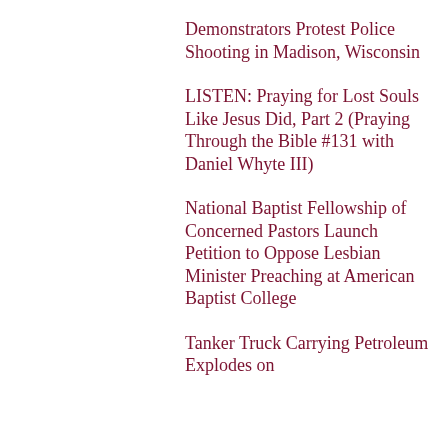Demonstrators Protest Police Shooting in Madison, Wisconsin
LISTEN: Praying for Lost Souls Like Jesus Did, Part 2 (Praying Through the Bible #131 with Daniel Whyte III)
National Baptist Fellowship of Concerned Pastors Launch Petition to Oppose Lesbian Minister Preaching at American Baptist College
Tanker Truck Carrying Petroleum Explodes on